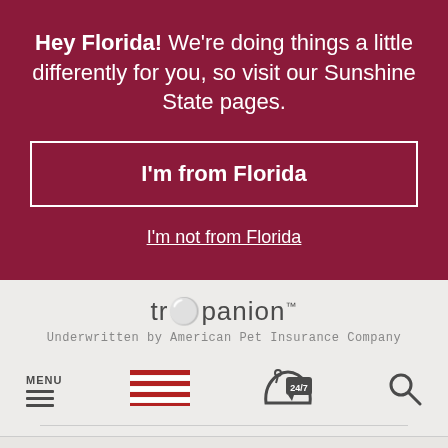Hey Florida! We're doing things a little differently for you, so visit our Sunshine State pages.
I'm from Florida
I'm not from Florida
[Figure (logo): Trupanion logo with text 'trupanion' and tagline 'Underwritten by American Pet Insurance Company']
[Figure (infographic): Navigation row with MENU hamburger icon, US flag icon, 24/7 phone icon, and search icon]
[Figure (infographic): Social media icons row: Facebook, Instagram, Pinterest, Twitter, YouTube]